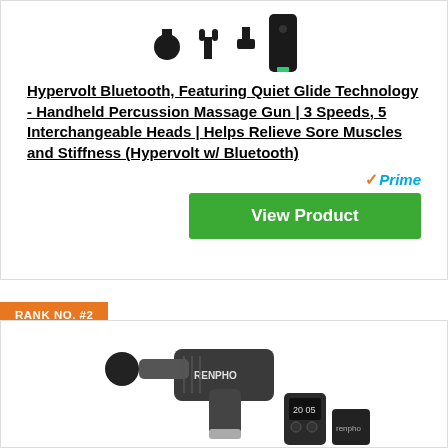[Figure (photo): Massage gun attachment heads and device body shown from above against white background]
Hypervolt Bluetooth, Featuring Quiet Glide Technology - Handheld Percussion Massage Gun | 3 Speeds, 5 Interchangeable Heads | Helps Relieve Sore Muscles and Stiffness (Hypervolt w/ Bluetooth)
Prime
View Product
RANK NO. #2
[Figure (photo): RENPHO branded massage gun in dark gray/black with round attachment head, accompanied by a small display remote and battery pack, shown against white background]